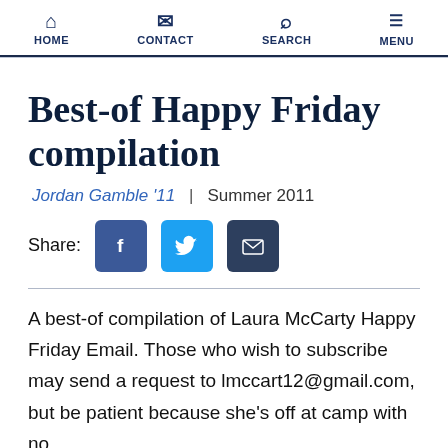HOME | CONTACT | SEARCH | MENU
Best-of Happy Friday compilation
Jordan Gamble '11 | Summer 2011
[Figure (infographic): Social share buttons: Facebook, Twitter, Email]
A best-of compilation of Laura McCarty Happy Friday Email. Those who wish to subscribe may send a request to lmccart12@gmail.com, but be patient because she's off at camp with no...